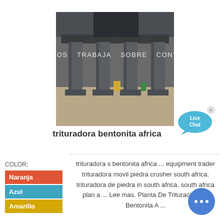[Figure (photo): Construction site showing concrete structural columns and supports viewed from below]
SERVICIOS   TRABAJA   SOBRE   CONTACTO
trituradora bentonita africa
[Figure (illustration): Live Chat speech bubble icon in cyan/blue]
COLOR: Naranja Azul Amarillo
trituradora s bentonita africa ... equipment trader trituradora movil piedra crusher south africa. trituradora de piedra in south africa. south africa plan a ... Lee mas. Planta De Trituración De Bentonita A ...
[Figure (illustration): Round blue chat button with ellipsis (…) icon]